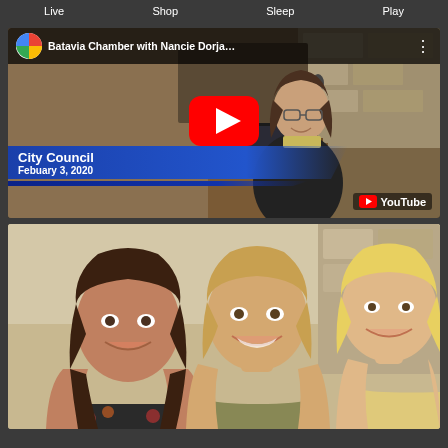Live   Shop   Sleep   Play
[Figure (screenshot): YouTube video thumbnail showing a woman speaking at a podium at a City Council meeting. Video title: 'Batavia Chamber with Nancie Dorja...' Lower third graphic reads 'City Council' and 'Febuary 3, 2020'. YouTube logo visible in bottom right.]
[Figure (photo): Photo of three smiling women posed together outdoors or in a light background setting.]